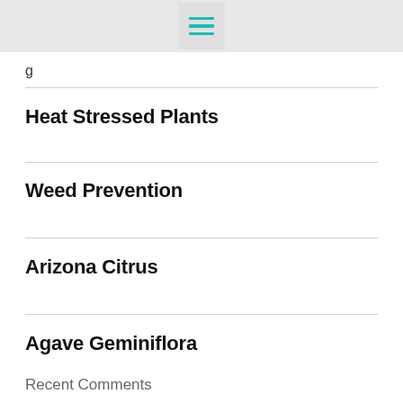☰
Heat Stressed Plants
Weed Prevention
Arizona Citrus
Agave Geminiflora
Recent Comments